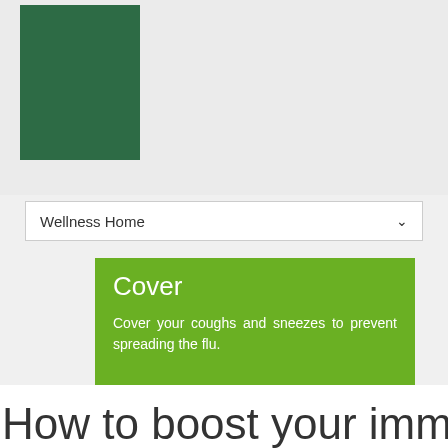[Figure (logo): Dark green square logo block]
Wellness Home
Cover
Cover your coughs and sneezes to prevent spreading the flu.
How to boost your immune